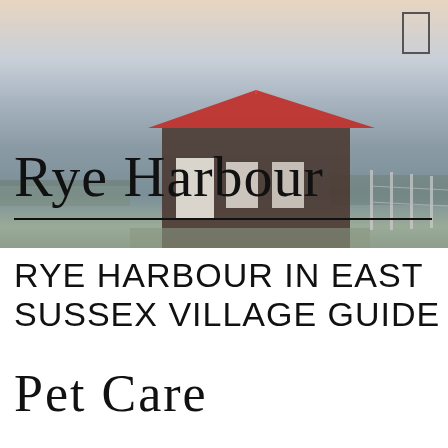[Figure (photo): Photograph of a wooden barn-style building with a red roof at Rye Harbour, East Sussex. Sky is hazy peach-grey above, flat coastal landscape below.]
Rye Harbour
RYE HARBOUR IN EAST SUSSEX VILLAGE GUIDE
Pet Care